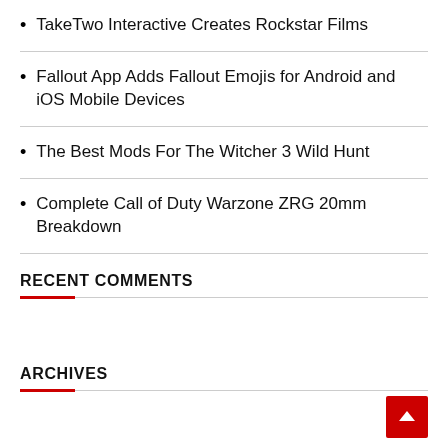TakeTwo Interactive Creates Rockstar Films
Fallout App Adds Fallout Emojis for Android and iOS Mobile Devices
The Best Mods For The Witcher 3 Wild Hunt
Complete Call of Duty Warzone ZRG 20mm Breakdown
RECENT COMMENTS
ARCHIVES